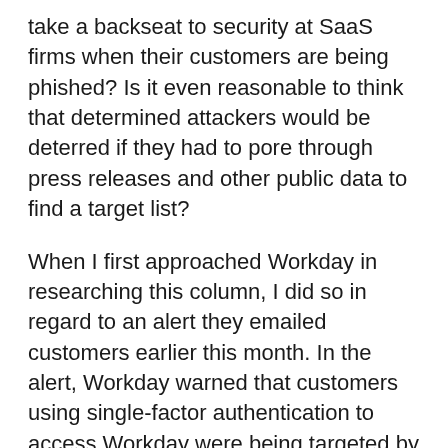take a backseat to security at SaaS firms when their customers are being phished? Is it even reasonable to think that determined attackers would be deterred if they had to pore through press releases and other public data to find a target list?
When I first approached Workday in researching this column, I did so in regard to an alert they emailed customers earlier this month. In the alert, Workday warned that customers using single-factor authentication to access Workday were being targeted by email phishing campaigns. The company said there was no evidence to suggest the phishing a result of the Workday service or infrastructure, but rather it was the result of phishing emails where individuals at customer organizations shared login credentials with a malicious third party. In